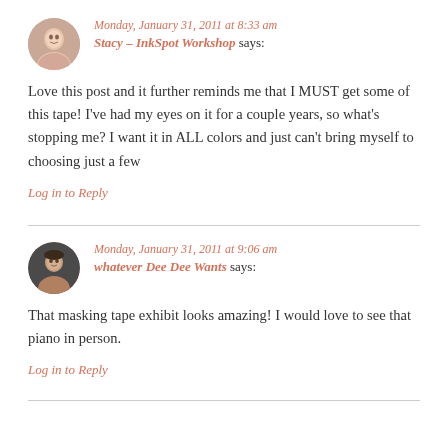Monday, January 31, 2011 at 8:33 am
Stacy - InkSpot Workshop says:
Love this post and it further reminds me that I MUST get some of this tape! I've had my eyes on it for a couple years, so what's stopping me? I want it in ALL colors and just can't bring myself to choosing just a few
Log in to Reply
Monday, January 31, 2011 at 9:06 am
whatever Dee Dee Wants says:
That masking tape exhibit looks amazing! I would love to see that piano in person.
Log in to Reply